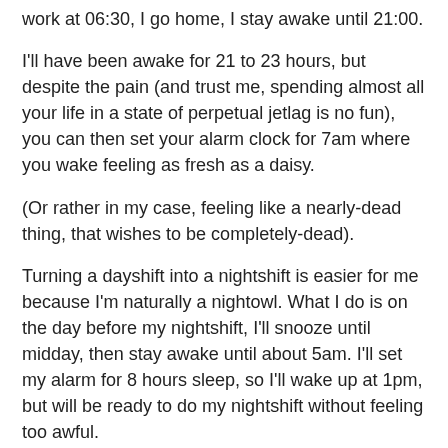work at 06:30, I go home, I stay awake until 21:00.
I'll have been awake for 21 to 23 hours, but despite the pain (and trust me, spending almost all your life in a state of perpetual jetlag is no fun), you can then set your alarm clock for 7am where you wake feeling as fresh as a daisy.
(Or rather in my case, feeling like a nearly-dead thing, that wishes to be completely-dead).
Turning a dayshift into a nightshift is easier for me because I'm naturally a nightowl. What I do is on the day before my nightshift, I'll snooze until midday, then stay awake until about 5am. I'll set my alarm for 8 hours sleep, so I'll wake up at 1pm, but will be ready to do my nightshift without feeling too awful.
Of course, the real trick of this trade is making sure you don't work rotating shifts.